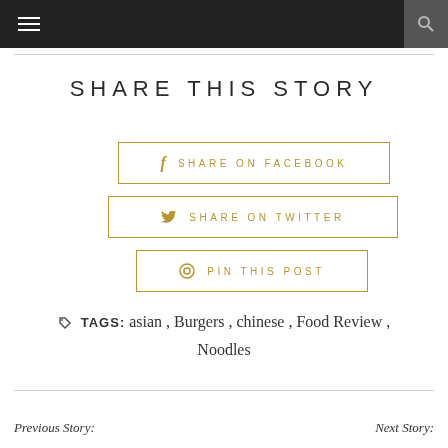SHARE THIS STORY
f  SHARE ON FACEBOOK
🐦  SHARE ON TWITTER
⊕  PIN THIS POST
TAGS: asian, Burgers, chinese, Food Review, Noodles
Previous Story:    Next Story: